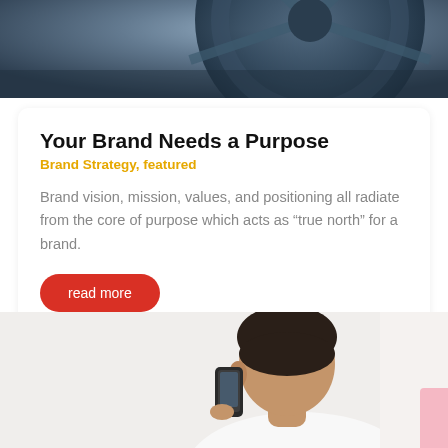[Figure (photo): Close-up photo of a dark steering wheel or circular mechanical object with a bluish-gray tone, partially cropped at top of page.]
Your Brand Needs a Purpose
Brand Strategy, featured
Brand vision, mission, values, and positioning all radiate from the core of purpose which acts as “true north” for a brand.
read more
[Figure (photo): Photo of a man viewed from behind, holding a smartphone up to his ear, wearing a white shirt, with a pink tab element visible at the bottom right corner.]